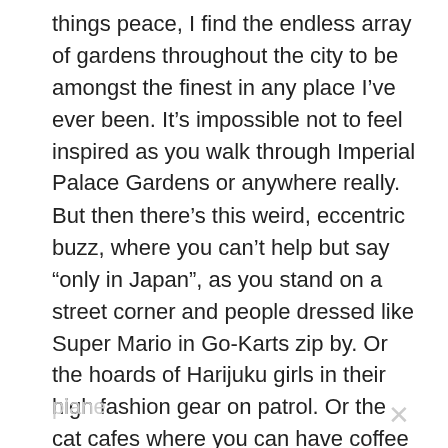things peace, I find the endless array of gardens throughout the city to be amongst the finest in any place I've ever been. It's impossible not to feel inspired as you walk through Imperial Palace Gardens or anywhere really.
But then there's this weird, eccentric buzz, where you can't help but say "only in Japan", as you stand on a street corner and people dressed like Super Mario in Go-Karts zip by. Or the hoards of Harijuku girls in their high fashion gear on patrol. Or the cat cafes where you can have coffee with cats. It's the best kind of weird and I am just so happy. Plus, when you leave, the airport ground staff bow to your
plane